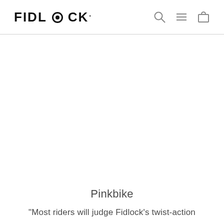FIDLOCK — navigation header with search, menu, and cart icons
Pinkbike
"Most riders will judge Fidlock's twist-action